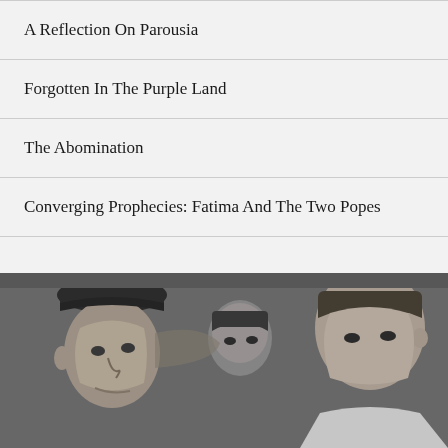A Reflection On Parousia
Forgotten In The Purple Land
The Abomination
Converging Prophecies: Fatima And The Two Popes
[Figure (photo): Black and white photograph of three people, one wearing a dark cap on the left, a younger person in the center background, and another person on the right appearing to whisper or speak closely to the person on the left.]